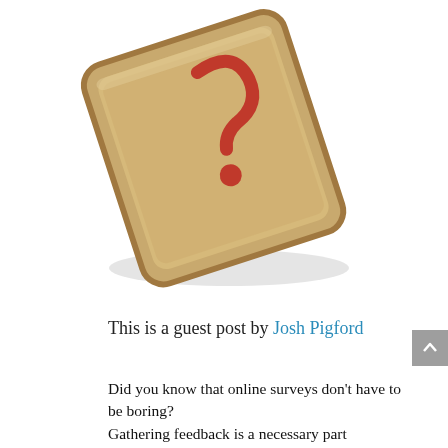[Figure (photo): A slice of whole wheat bread with ketchup forming a question mark shape on top, placed diagonally on a white background.]
This is a guest post by Josh Pigford
Did you know that online surveys don't have to be boring?
Gathering feedback is a necessary part of running a business, but the process